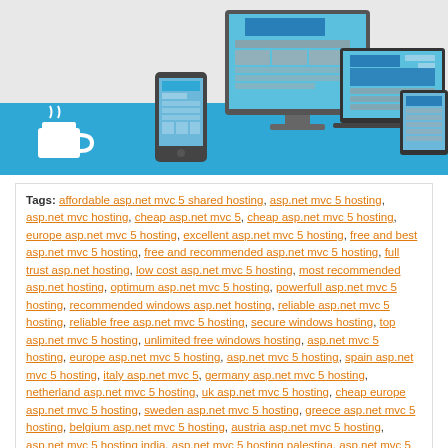[Figure (illustration): Flat design illustration showing responsive web design devices: a desktop monitor, a laptop, a smartphone, and a coffee cup, on a light blue background bar.]
Tags: affordable asp.net mvc 5 shared hosting, asp.net mvc 5 hosting, asp.net mvc hosting, cheap asp.net mvc 5, cheap asp.net mvc 5 hosting, europe asp.net mvc 5 hosting, excellent asp.net mvc 5 hosting, free and best asp.net mvc 5 hosting, free and recommended asp.net mvc 5 hosting, full trust asp.net hosting, low cost asp.net mvc 5 hosting, most recommended asp.net hosting, optimum asp.net mvc 5 hosting, powerfull asp.net mvc 5 hosting, recommended windows asp.net hosting, reliable asp.net mvc 5 hosting, reliable free asp.net mvc 5 hosting, secure windows hosting, top asp.net mvc 5 hosting, unlimited free windows hosting, asp.net mvc 5 hosting, europe asp.net mvc 5 hosting, asp.net mvc 5 hosting, spain asp.net mvc 5 hosting, italy asp.net mvc 5, germany asp.net mvc 5 hosting, netherland asp.net mvc 5 hosting, uk asp.net mvc 5 hosting, cheap europe asp.net mvc 5 hosting, sweden asp.net mvc 5 hosting, greece asp.net mvc 5 hosting, belgium asp.net mvc 5 hosting, austria asp.net mvc 5 hosting, asp.net mvc 5 hosting india, asp.net mvc 5 hosting palestina, asp.net mvc 5 hosting south africa, asp.net mvc 5 hosting poland, asp.net mvc 5 hosting turkey, asp.net mvc 5
Categories: ASP.NET MVC 5.0
Actions: E-mail | Kick it! | Permalink | Comments (0) | Comment RSS
ASP.NET MVC 5 Hosting